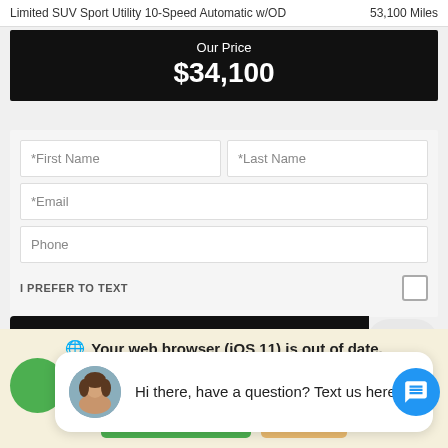Limited SUV Sport Utility 10-Speed Automatic w/OD    53,100 Miles
Our Price
$34,100
[Figure (screenshot): Web form with First Name, Last Name, Email, Phone fields, I PREFER TO TEXT checkbox, Submit button and close button]
Hi there, have a question? Text us here.
Your web browser (iOS 11) is out of date. Update your browser for more security, speed and the best experience on this site.
Update browser
Ignore